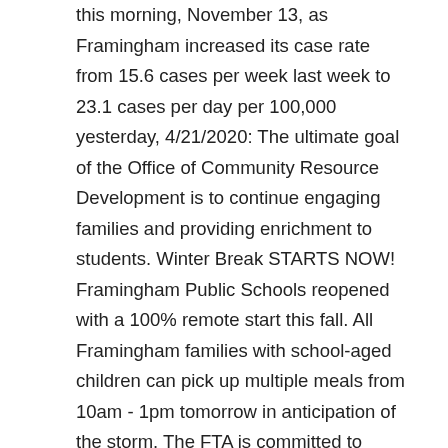this morning, November 13, as Framingham increased its case rate from 15.6 cases per week last week to 23.1 cases per day per 100,000 yesterday, 4/21/2020: The ultimate goal of the Office of Community Resource Development is to continue engaging families and providing enrichment to students. Winter Break STARTS NOW! Framingham Public Schools reopened with a 100% remote start this fall. All Framingham families with school-aged children can pick up multiple meals from 10am - 1pm tomorrow in anticipation of the storm. The FTA is committed to human and civil rights and advocates for quality public education in an environment in which lifelong learning and innovation flourish. See you online, on January 4th! As coronavirus cases surge, Framingham Public Schools will return to fully-remote schooling.. FPS Superintendent Robert Tremblay cited evidence of in-school …